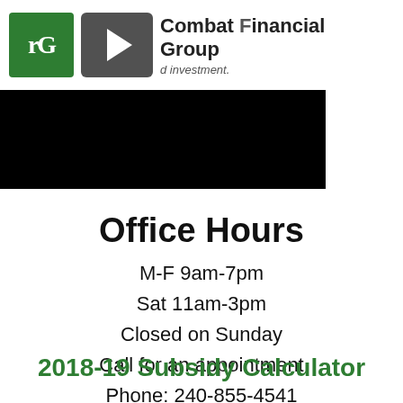[Figure (screenshot): Partial screenshot of Combat Financial Group logo with green icon, play button overlay, and black banner below with text obscured]
Office Hours
M-F 9am-7pm
Sat 11am-3pm
Closed on Sunday
Call for an appointment
Phone: 240-855-4541
2018-19 Subsidy Calculator